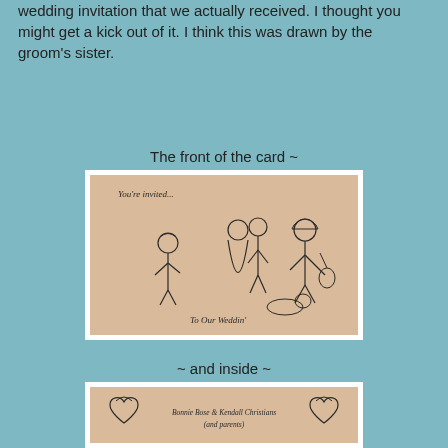wedding invitation that we actually received. I thought you might get a kick out of it. I think this was drawn by the groom's sister.
The front of the card ~
[Figure (illustration): Hand-drawn cartoon illustration on aged paper showing characters at a wedding. Text reads 'You're invited...' and 'To Our Weddin'' with cartoon hillbilly figures including a bride and groom couple and a musician with a guitar, and a dog.]
~ and inside ~
[Figure (illustration): Hand-drawn inside of wedding invitation card on aged paper. Shows two heart shapes with hats and a banner reading 'Bonnie Bose & Kendall Christians (and parents)']